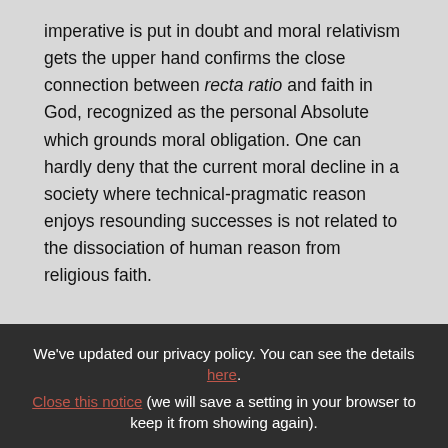imperative is put in doubt and moral relativism gets the upper hand confirms the close connection between recta ratio and faith in God, recognized as the personal Absolute which grounds moral obligation. One can hardly deny that the current moral decline in a society where technical-pragmatic reason enjoys resounding successes is not related to the dissociation of human reason from religious faith.
We've updated our privacy policy. You can see the details here. Close this notice (we will save a setting in your browser to keep it from showing again).